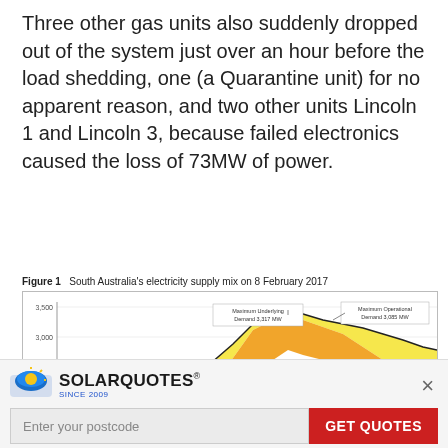Three other gas units also suddenly dropped out of the system just over an hour before the load shedding, one (a Quarantine unit) for no apparent reason, and two other units Lincoln 1 and Lincoln 3, because failed electronics caused the loss of 73MW of power.
Figure 1   South Australia's electricity supply mix on 8 February 2017
[Figure (area-chart): Stacked area chart showing South Australia's electricity supply mix on 8 February 2017. Y-axis shows supply in MW from approximately 1,500 to 3,500. The chart shows multiple colored areas (yellow, orange, green, purple, red). Annotations indicate 'Maximum Underlying Demand 3,317 MW' and 'Maximum Operational Demand 3,085 MW'.]